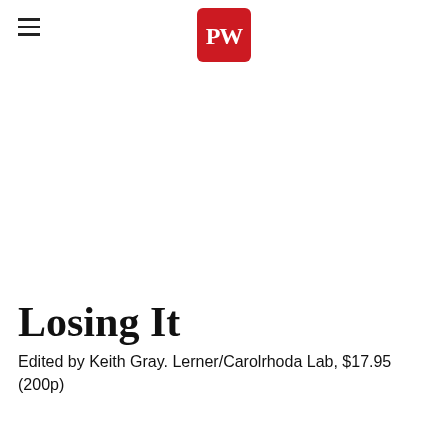PW (Publishers Weekly logo)
Losing It
Edited by Keith Gray. Lerner/Carolrhoda Lab, $17.95 (200p)